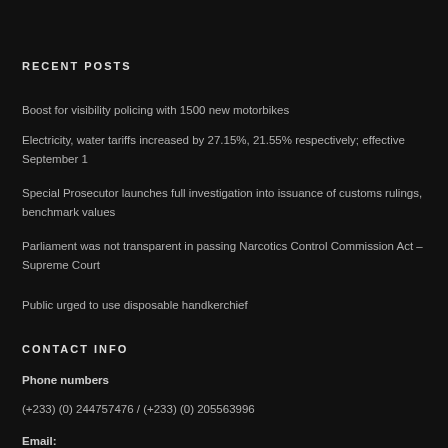RECENT POSTS
Boost for visibility policing with 1500 new motorbikes
Electricity, water tariffs increased by 27.15%, 21.55% respectively; effective September 1
Special Prosecutor launches full investigation into issuance of customs rulings, benchmark values
Parliament was not transparent in passing Narcotics Control Commission Act – Supreme Court
Public urged to use disposable handkerchief
CONTACT INFO
Phone numbers
(+233) (0) 244757476 / (+233) (0) 205563996
Email: